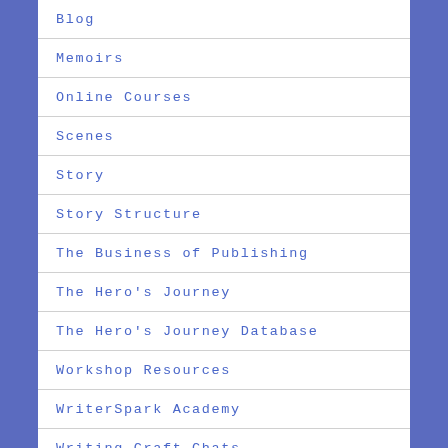Blog
Memoirs
Online Courses
Scenes
Story
Story Structure
The Business of Publishing
The Hero's Journey
The Hero's Journey Database
Workshop Resources
WriterSpark Academy
Writing Craft Chats
Writing Life